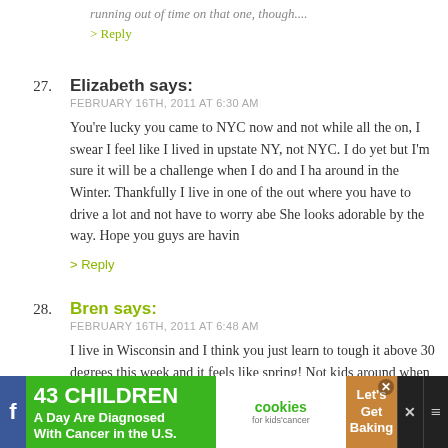running out of time on that one, though....
> Reply
27. Elizabeth says: FEBRUARY 16TH, 2011 AT 6:30 AM
You're lucky you came to NYC now and not while all the on, I swear I feel like I lived in upstate NY, not NYC. I do yet but I'm sure it will be a challenge when I do and I ha around in the Winter. Thankfully I live in one of the out where you have to drive a lot and not have to worry abe She looks adorable by the way. Hope you guys are havin
> Reply
28. Bren says: FEBRUARY 16TH, 2011 AT 6:48 AM
I live in Wisconsin and I think you just learn to tough it above 30 degrees this week and it feels like spring! Not kids around when it is -15 in the mornings to get a chilo
[Figure (screenshot): Advertisement banner: '43 CHILDREN A Day Are Diagnosed With Cancer in the U.S.' with cookies for kids cancer and Let's Get Baking logos]